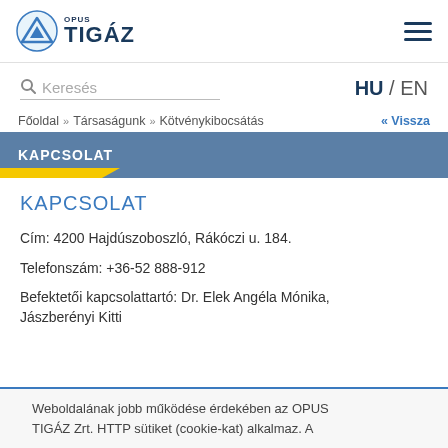[Figure (logo): OPUS TIGAZ logo with blue triangle/mountain icon and company name]
Keresés
HU / EN
Főoldal » Társaságunk » Kötvénykibocsátás
« Vissza
KAPCSOLAT
KAPCSOLAT
Cím: 4200 Hajdúszoboszló, Rákóczi u. 184.
Telefonszám: +36-52 888-912
Befektetői kapcsolattartó: Dr. Elek Angéla Mónika, Jászberényi Kitti
Weboldalának jobb működése érdekében az OPUS TIGÁZ Zrt. HTTP sütiket (cookie-kat) alkalmaz. A